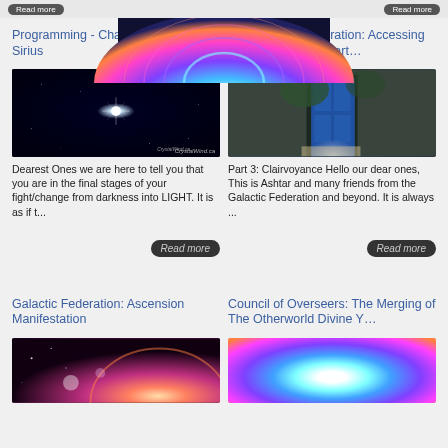Programming - Channeling From Sirius
[Figure (photo): Dark night sky with a bright star (Sirius) shining with cross-shaped rays, with text watermark CrystalWind.ca]
Dearest Ones we are here to tell you that you are in the final stages of your fight/change from darkness into LIGHT. It is as if t...
Read more
The Galactic Federation: Accessing Spiritual Abilities: Part…
[Figure (photo): A blue wooden door set in a stone wall with greenery, with light shining through from below]
Part 3: Clairvoyance Hello our dear ones, This is Ashtar and many friends from the Galactic Federation and beyond. It is always ...
Read more
Galactic Federation: Ascension Manifestation
[Figure (photo): Space scene with warm pinkish-red glow, planet arc, and scattered stars]
Council of Overseers: The Merging of The Otherworld Divine Y…
[Figure (photo): Colorful rainbow/prism light arches radiating from center bottom, in blue, purple, pink and orange tones]